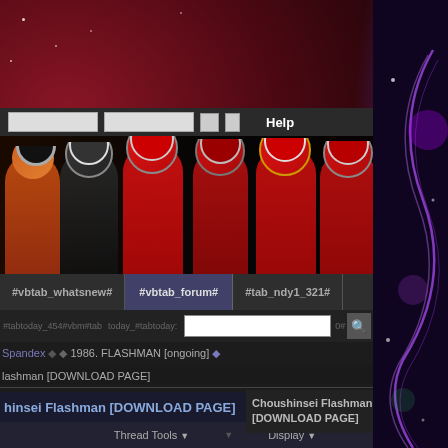[Figure (screenshot): Website screenshot of a forum page about Choushinsei Flashman with Power Rangers banner image and navigation tabs including #vbtab_whatsnew#, #vbtab_forum#, #tab_ndy1_321#]
#vbtab_whatsnew#
#vbtab_forum#
#tab_ndy1_321#
#tabtoday_454#vbm#tabtoday_#tabtoday:
Spandex ✦ 1986. FLASHMAN [ongoing] ✦
#vbmend_qlinks#
lashman [DOWNLOAD PAGE]
hinsei Flashman [DOWNLOAD PAGE]
Thread Tools ▾
Display ▾
1:06 AM
#1
Choushinsei Flashman [DOWNLOAD PAGE]